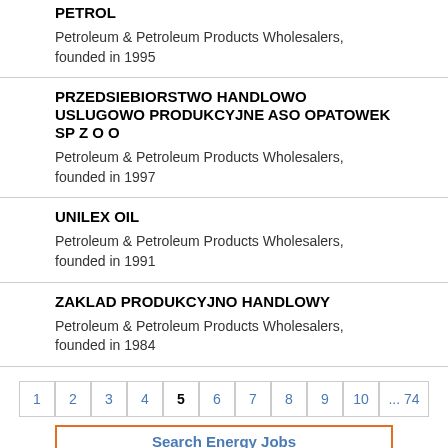PETROL
Petroleum & Petroleum Products Wholesalers, founded in 1995
PRZEDSIEBIORSTWO HANDLOWO USLUGOWO PRODUKCYJNE ASO OPATOWEK SP Z O O
Petroleum & Petroleum Products Wholesalers, founded in 1997
UNILEX OIL
Petroleum & Petroleum Products Wholesalers, founded in 1991
ZAKLAD PRODUKCYJNO HANDLOWY
Petroleum & Petroleum Products Wholesalers, founded in 1984
1 2 3 4 5 6 7 8 9 10 ... 74
Search Energy Jobs